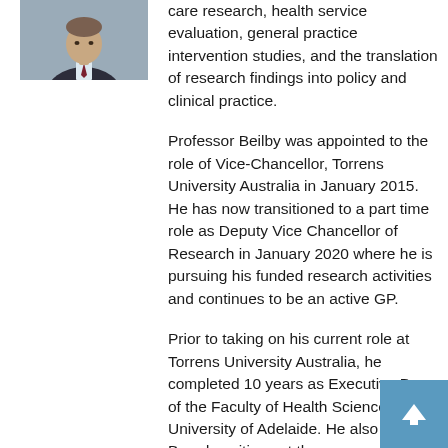[Figure (photo): Headshot photo of a man in a dark suit and tie, against a light background]
care research, health service evaluation, general practice intervention studies, and the translation of research findings into policy and clinical practice.
Professor Beilby was appointed to the role of Vice-Chancellor, Torrens University Australia in January 2015. He has now transitioned to a part time role as Deputy Vice Chancellor of Research in January 2020 where he is pursuing his funded research activities and continues to be an active GP.
Prior to taking on his current role at Torrens University Australia, he completed 10 years as Executive Dean of the Faculty of Health Sciences, University of Adelaide. He also holds Board positions at the